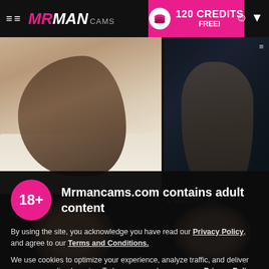MR MAN CAMS — 120 CREDITS FREE!
[Figure (screenshot): Two male model thumbnail photos side by side on a dark webcam site]
Llano Volkov
Matius Coslink
Mrmancams.com contains adult content
By using the site, you acknowledge you have read our Privacy Policy, and agree to our Terms and Conditions.
We use cookies to optimize your experience, analyze traffic, and deliver more personalized service. To learn more, please see our Privacy Policy.
I AGREE